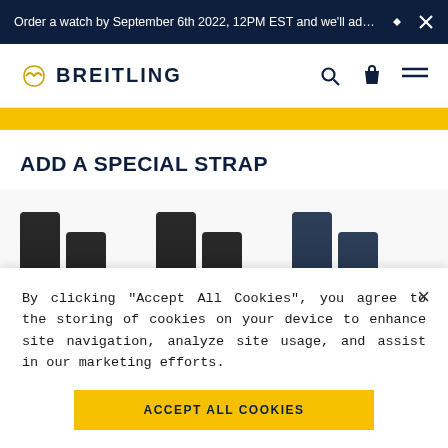Order a watch by September 6th 2022, 12PM EST and we'll add a...
[Figure (logo): Breitling logo with wing icon and BREITLING wordmark in dark navy]
[Figure (photo): Three pairs of watch straps: two pairs in black and one pair in navy blue, displayed vertically]
ADD A SPECIAL STRAP
By clicking “Accept All Cookies”, you agree to the storing of cookies on your device to enhance site navigation, analyze site usage, and assist in our marketing efforts.
ACCEPT ALL COOKIES